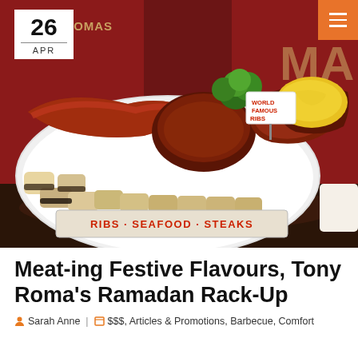[Figure (photo): A large oval plate of BBQ ribs with sauce, broccoli, yellow corn, and cylindrical garnishes at Tony Roma's restaurant. A 'World Famous Ribs' sign is on the plate. A white date badge shows '26 APR' in the top left corner. An orange menu button with three white lines is in the top right corner. The Tony Roma's red logo banners are visible in the background. A sign reads 'RIBS · SEAFOOD · STEAKS'.]
Meat-ing Festive Flavours, Tony Roma's Ramadan Rack-Up
Sarah Anne | $$$, Articles & Promotions, Barbecue, Comfort